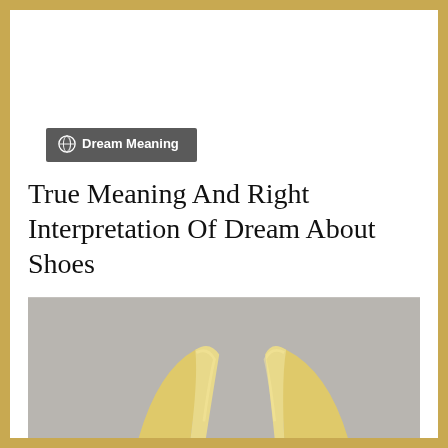Dream Meaning
True Meaning And Right Interpretation Of Dream About Shoes
[Figure (photo): Two pale yellow pointed-toe high heel shoes photographed from above against a grey background]
Y